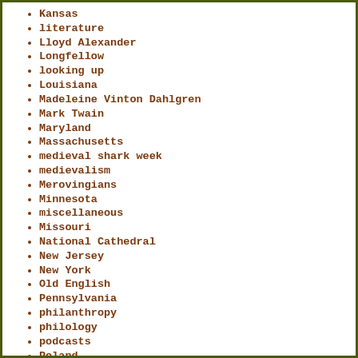Kansas
literature
Lloyd Alexander
Longfellow
looking up
Louisiana
Madeleine Vinton Dahlgren
Mark Twain
Maryland
Massachusetts
medieval shark week
medievalism
Merovingians
Minnesota
miscellaneous
Missouri
National Cathedral
New Jersey
New York
Old English
Pennsylvania
philanthropy
philology
podcasts
Poland